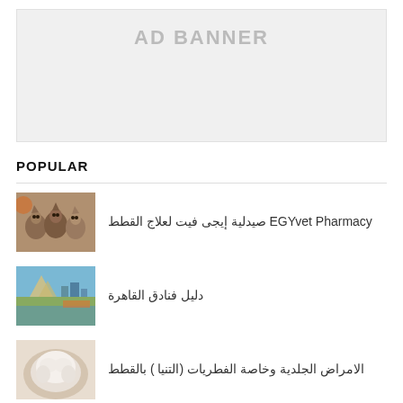[Figure (other): Ad banner placeholder with light gray background and text 'AD BANNER']
POPULAR
EGYvet Pharmacy صيدلية إيجى فيت لعلاج القطط
دليل فنادق القاهرة
الامراض الجلدية وخاصة الفطريات (التنيا ) بالقططط